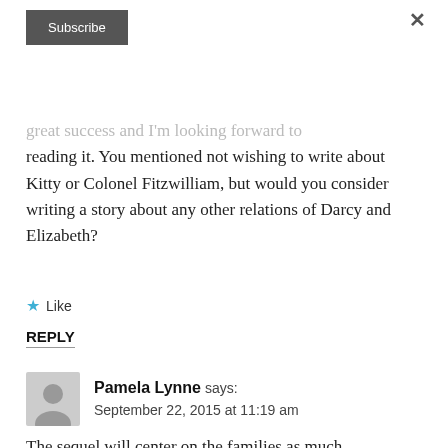[Figure (other): Subscribe button (dark grey rectangular button with white text 'Subscribe')]
great success and I'm looking forward to reading it. You mentioned not wishing to write about Kitty or Colonel Fitzwilliam, but would you consider writing a story about any other relations of Darcy and Elizabeth?
★ Like
REPLY
Pamela Lynne says: September 22, 2015 at 11:19 am
The sequel will center on the families as much